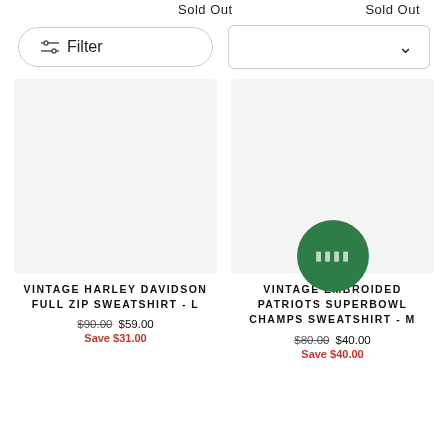Sold Out  Sold Out
Filter
VINTAGE HARLEY DAVIDSON FULL ZIP SWEATSHIRT - L
$90.00  $59.00
Save $31.00
VINTAGE EMBROIDED PATRIOTS SUPERBOWL CHAMPS SWEATSHIRT - M
$80.00  $40.00
Save $40.00